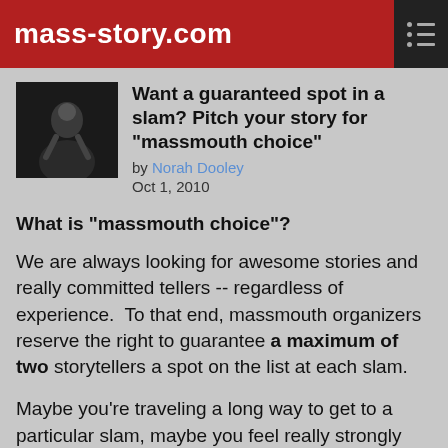mass-story.com
Want a guaranteed spot in a slam? Pitch your story for "massmouth choice"
by Norah Dooley
Oct 1, 2010
What is "massmouth choice"?
We are always looking for awesome stories and really committed tellers -- regardless of experience.  To that end, massmouth organizers reserve the right to guarantee a maximum of two storytellers a spot on the list at each slam.
Maybe you're traveling a long way to get to a particular slam, maybe you feel really strongly about a certain theme, maybe you've been preparing forever and just wanna get your story out there... Whatever the reason, we want to support you.